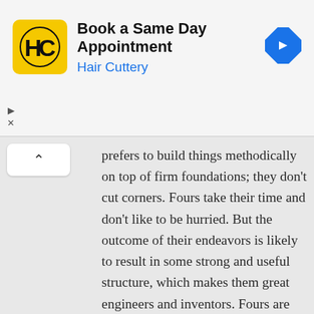[Figure (screenshot): Hair Cuttery advertisement banner with yellow HC logo, text 'Book a Same Day Appointment' and 'Hair Cuttery' in blue, with a blue diamond navigation arrow icon on the right. Play and close controls on the left.]
prefers to build things methodically on top of firm foundations; they don't cut corners. Fours take their time and don't like to be hurried. But the outcome of their endeavors is likely to result in some strong and useful structure, which makes them great engineers and inventors. Fours are anything but frivolous or controversial. This is a trustworthy, straight-forward personality that embodies dedication and organization. They are the backbone and anchor in